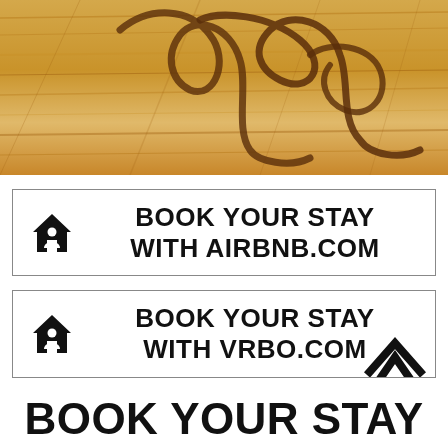[Figure (illustration): Wood texture banner with cursive script text carved/written on it (partial text visible, appears to say 'age' or similar)]
BOOK YOUR STAY WITH AIRBNB.COM
BOOK YOUR STAY WITH VRBO.COM
BOOK YOUR STAY